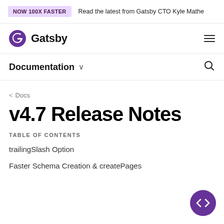NOW 100X FASTER   Read the latest from Gatsby CTO Kyle Mathe
[Figure (logo): Gatsby logo with purple spiral icon and 'Gatsby' wordmark]
Documentation
< Docs
v4.7 Release Notes
TABLE OF CONTENTS
trailingSlash Option
Faster Schema Creation & createPages